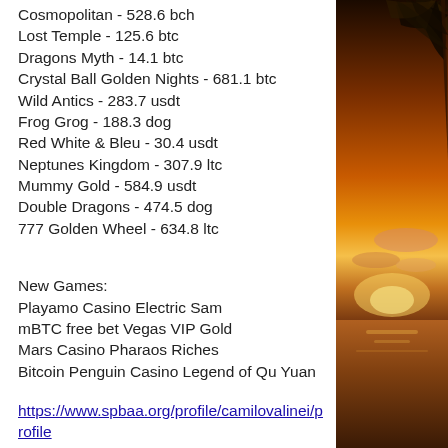Cosmopolitan - 528.6 bch
Lost Temple - 125.6 btc
Dragons Myth - 14.1 btc
Crystal Ball Golden Nights - 681.1 btc
Wild Antics - 283.7 usdt
Frog Grog - 188.3 dog
Red White & Bleu - 30.4 usdt
Neptunes Kingdom - 307.9 ltc
Mummy Gold - 584.9 usdt
Double Dragons - 474.5 dog
777 Golden Wheel - 634.8 ltc
New Games:
Playamo Casino Electric Sam
mBTC free bet Vegas VIP Gold
Mars Casino Pharaos Riches
Bitcoin Penguin Casino Legend of Qu Yuan
https://www.spbaa.org/profile/camilovalinei/profile
https://www.newwavefitness.com.au/profile/p
[Figure (photo): Tropical sunset scene with palm tree fronds on the right and a warm orange/golden sky with sun setting over water]